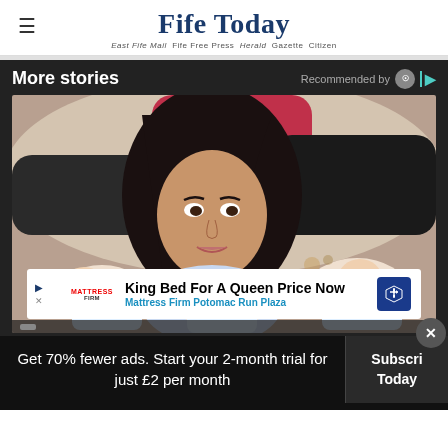Fife Today — East Fife Mail  Fife Free Press  Herald  Gazette  Citizen
More stories
Recommended by
[Figure (photo): Woman with long dark hair looking down at three newborn babies lying in front of her on a sofa, another person visible in background]
King Bed For A Queen Price Now
Mattress Firm Potomac Run Plaza
Get 70% fewer ads. Start your 2-month trial for just £2 per month
Subscribe Today